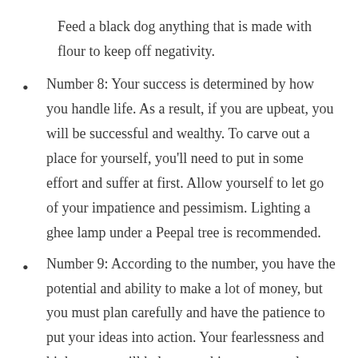Feed a black dog anything that is made with flour to keep off negativity.
Number 8: Your success is determined by how you handle life. As a result, if you are upbeat, you will be successful and wealthy. To carve out a place for yourself, you'll need to put in some effort and suffer at first. Allow yourself to let go of your impatience and pessimism. Lighting a ghee lamp under a Peepal tree is recommended.
Number 9: According to the number, you have the potential and ability to make a lot of money, but you must plan carefully and have the patience to put your ideas into action. Your fearlessness and high energy will help you achieve your goals. Every